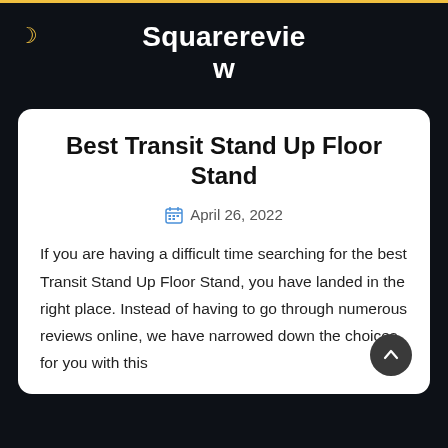Squarereview
Best Transit Stand Up Floor Stand
April 26, 2022
If you are having a difficult time searching for the best Transit Stand Up Floor Stand, you have landed in the right place. Instead of having to go through numerous reviews online, we have narrowed down the choices for you with this